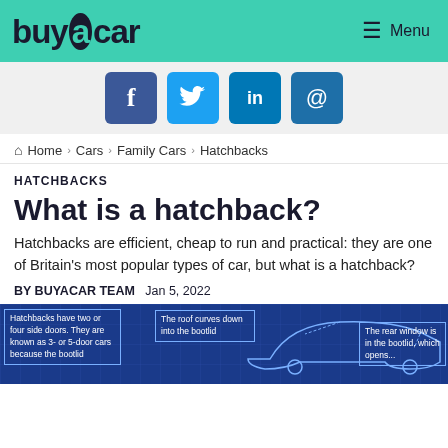buyacar | Menu
[Figure (other): Social media share buttons: Facebook, Twitter, LinkedIn, Email]
Home › Cars › Family Cars › Hatchbacks
HATCHBACKS
What is a hatchback?
Hatchbacks are efficient, cheap to run and practical: they are one of Britain's most popular types of car, but what is a hatchback?
BY BUYACAR TEAM   Jan 5, 2022
[Figure (illustration): Blueprint-style diagram of a hatchback car with annotation boxes: 'Hatchbacks have two or four side doors. They are known as 3- or 5-door cars because the bootlid', 'The roof curves down into the bootlid', 'The rear window is in the bootlid, which opens...']